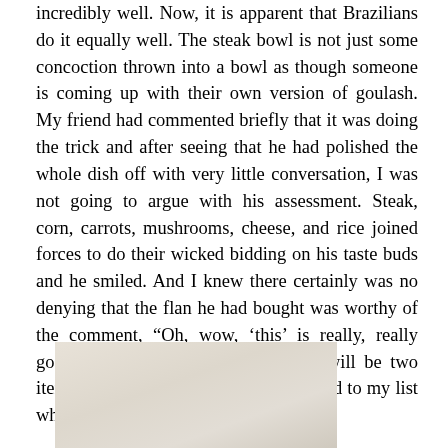incredibly well. Now, it is apparent that Brazilians do it equally well. The steak bowl is not just some concoction thrown into a bowl as though someone is coming up with their own version of goulash. My friend had commented briefly that it was doing the trick and after seeing that he had polished the whole dish off with very little conversation, I was not going to argue with his assessment. Steak, corn, carrots, mushrooms, cheese, and rice joined forces to do their wicked bidding on his taste buds and he smiled. And I knew there certainly was no denying that the flan he had bought was worthy of the comment, “Oh, wow, ‘this’ is really, really good.” The steak bowl and the flan will be two items that I will have to be certain to add to my list when I return.
[Figure (photo): A partial photograph showing a light beige/cream colored surface, likely a food item or table setting, cropped at the bottom of the page.]